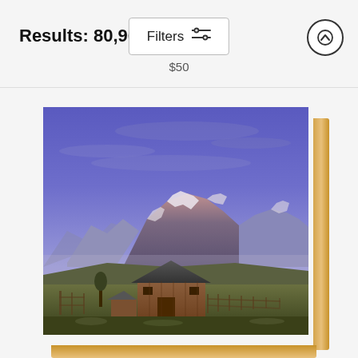Results: 80,960
Filters
$50
[Figure (photo): A wood panel print showing the Grand Teton mountain range at dusk/dawn with a historic log barn in the foreground, displayed as a framed wood art print with visible wooden edge and perspective view.]